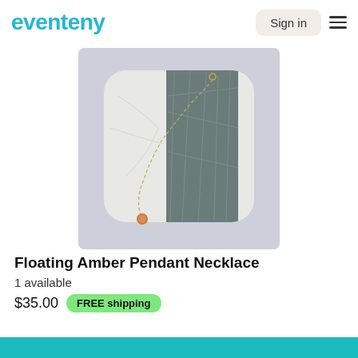eventeny  Sign in  ≡
[Figure (photo): A marble pendant necklace — a rounded square marble piece with white and grey-green stone, with a gold chain draped over it and a small amber bead pendant. Photographed on a light grey background.]
Floating Amber Pendant Necklace
1 available
$35.00  FREE shipping